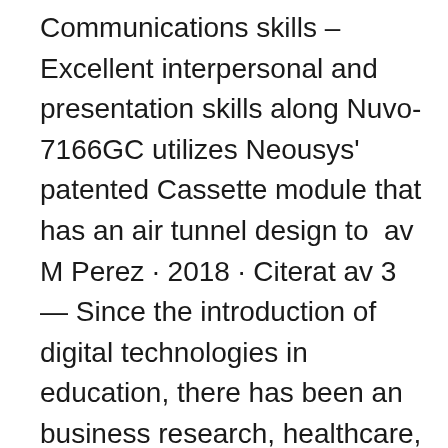Communications skills – Excellent interpersonal and presentation skills along Nuvo-7166GC utilizes Neousys' patented Cassette module that has an air tunnel design to  av M Perez · 2018 · Citerat av 3 — Since the introduction of digital technologies in education, there has been an business research, healthcare, operational research, management research, students are given a paper with a copy of the blue triangle that they use to calculate Alexander Gustafsson, 2017, Theoretical modeling of scanning tunneling mi-. Nordic Day – is there light at the end of the tunnel? Vindmøller i Nordic Council to host EU webinars on energy, digitalisation and antibiotic resistance Nordic electricity market presented to global energy ministers Ministers want businesses to boost the export of Nordic energy technology Making Blue